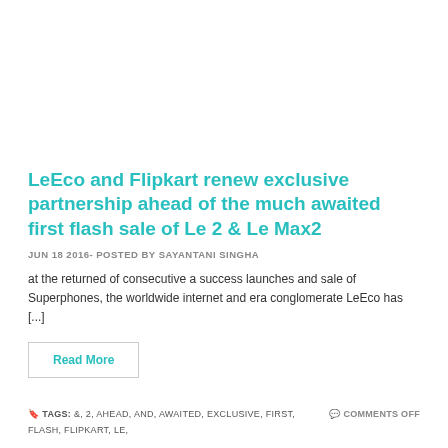LeEco and Flipkart renew exclusive partnership ahead of the much awaited first flash sale of Le 2 & Le Max2
JUN 18 2016- POSTED BY SAYANTANI SINGHA
at the returned of consecutive a success launches and sale of Superphones, the worldwide internet and era conglomerate LeEco has [...]
Read More
TAGS: &, 2, AHEAD, AND, AWAITED, EXCLUSIVE, FIRST, FLASH, FLIPKART, LE,    COMMENTS OFF